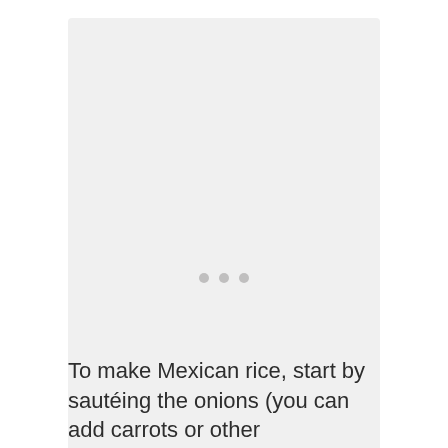[Figure (photo): Loading placeholder area with three grey dots indicating an image is loading]
To make Mexican rice, start by sautéing the onions (you can add carrots or other vegetables if you want). Then, cook the t...